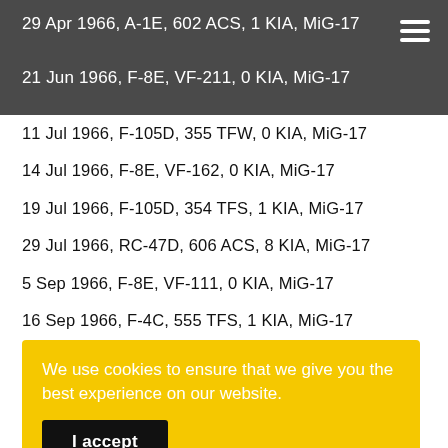29 Apr 1966, A-1E, 602 ACS, 1 KIA, MiG-17
21 Jun 1966, F-8E, VF-211, 0 KIA, MiG-17
11 Jul 1966, F-105D, 355 TFW, 0 KIA, MiG-17
14 Jul 1966, F-8E, VF-162, 0 KIA, MiG-17
19 Jul 1966, F-105D, 354 TFS, 1 KIA, MiG-17
29 Jul 1966, RC-47D, 606 ACS, 8 KIA, MiG-17
5 Sep 1966, F-8E, VF-111, 0 KIA, MiG-17
16 Sep 1966, F-4C, 555 TFS, 1 KIA, MiG-17
We use cookies to ensure that we give you the best experience on our website.
I accept
14 Dec 1966, F-105D, 357 TFS, 0 KIA, MiG-21